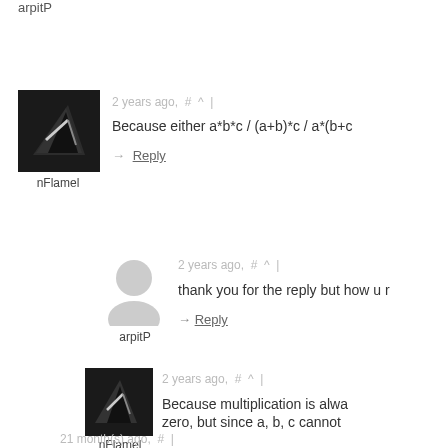arpitP
[Figure (photo): User avatar for nFlamel showing a dark geometric angular shape logo]
nFlamel
2 years ago, # ^ |
Because either a*b*c / (a+b)*c / a*(b+c
→ Reply
[Figure (photo): Generic user avatar placeholder for arpitP - gray silhouette]
arpitP
2 years ago, # ^ |
thank you for the reply but how u r
→ Reply
[Figure (photo): User avatar for nFlamel showing a dark geometric angular shape logo]
nFlamel
2 years ago, # ^ |
Because multiplication is alwa zero, but since a, b, c cannot
→ Reply
21 month(s) ago, # |